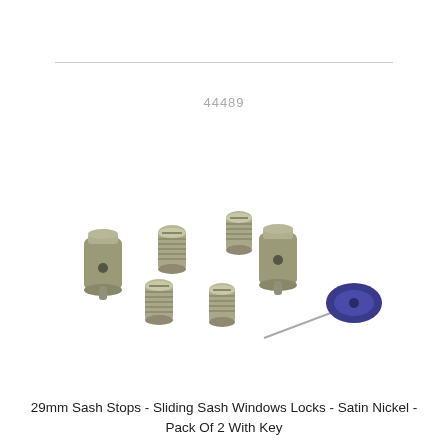44489
[Figure (photo): Product photo showing 29mm Sash Stops kit: two cylindrical satin nickel barrel stops, four threaded screws/bolts in satin nickel finish, and one dark blue/purple key with a thin metal rod, arranged on a white background.]
29mm Sash Stops - Sliding Sash Windows Locks - Satin Nickel - Pack Of 2 With Key